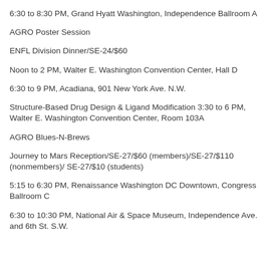6:30 to 8:30 PM, Grand Hyatt Washington, Independence Ballroom A
AGRO Poster Session
ENFL Division Dinner/SE-24/$60
Noon to 2 PM, Walter E. Washington Convention Center, Hall D
6:30 to 9 PM, Acadiana, 901 New York Ave. N.W.
Structure-Based Drug Design & Ligand Modification 3:30 to 6 PM, Walter E. Washington Convention Center, Room 103A
AGRO Blues-N-Brews
Journey to Mars Reception/SE-27/$60 (members)/SE-27/$110 (nonmembers)/ SE-27/$10 (students)
5:15 to 6:30 PM, Renaissance Washington DC Downtown, Congress Ballroom C
6:30 to 10:30 PM, National Air & Space Museum, Independence Ave. and 6th St. S.W.